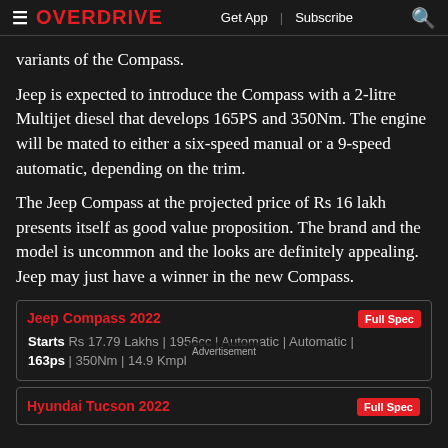≡ OVERDRIVE  Get App | Subscribe 🔍
variants of the Compass.
Jeep is expected to introduce the Compass with a 2-litre Multijet diesel that develops 165PS and 350Nm. The engine will be mated to either a six-speed manual or a 9-speed automatic, depending on the trim.
The Jeep Compass at the projected price of Rs 16 lakh presents itself as good value proposition. The brand and the model is uncommon and the looks are definitely appealing. Jeep may just have a winner in the new Compass.
| Jeep Compass 2022 | Full Spec |
| Starts Rs 17.79 Lakhs | 1956cc | Automatic | Automatic | 163ps | 350Nm | 14.9 Kmpl |  |
| Hyundai Tucson 2022 | Full Spec |
| Starts Rs 27.69 Lakhs | ... |  |